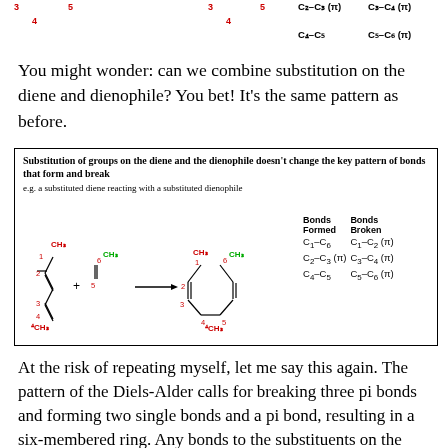[Figure (chemistry-diagram): Top partial row showing bonds formed/broken: C2-C3(pi), C3-C4(pi) at top; C4-C5 and C5-C6(pi) below]
You might wonder: can we combine substitution on the diene and dienophile? You bet! It’s the same pattern as before.
[Figure (chemistry-diagram): Diels-Alder reaction box: substituted diene (with CH3 groups at positions 1 and 4) reacting with substituted dienophile (CH3 at position 6) to form cyclohexene product (with CH3 groups). Bonds Formed: C1-C6, C2-C3(pi), C4-C5. Bonds Broken: C1-C2(pi), C3-C4(pi), C5-C6(pi). Caption: notice that the stereochemistry has been left unspecified here]
At the risk of repeating myself, let me say this again. The pattern of the Diels-Alder calls for breaking three pi bonds and forming two single bonds and a pi bond, resulting in a six-membered ring. Any bonds to the substituents on the